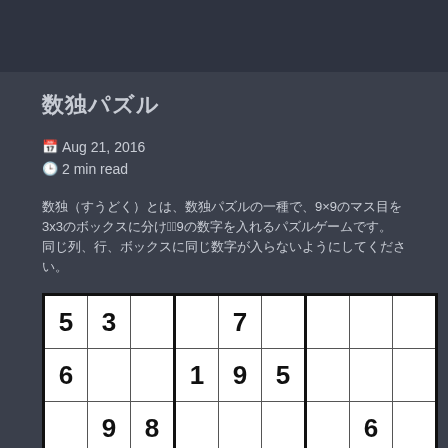数独パズル
Aug 21, 2016
2 min read
数独（すうどく）とは、3x3のボックスに1〜9の数字を入れるパズルゲームです。
| 5 | 3 |  |  | 7 |  |  |  |  |
| 6 |  |  | 1 | 9 | 5 |  |  |  |
|  | 9 | 8 |  |  |  |  | 6 |  |
| 8 |  |  |  | 6 |  |  |  | 3 |